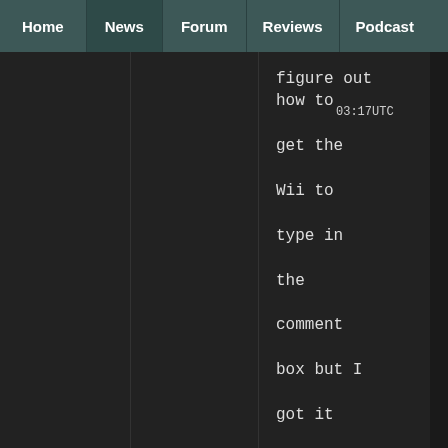Home | News | Forum | Reviews | Podcast
03:17UTC
figure out how to get the Wii to type in the comment box but I got it going now.  Cool site gg.  Has a nice clean look to it.  I had to stop by because